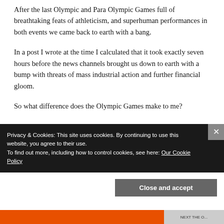After the last Olympic and Para Olympic Games full of breathtaking feats of athleticism, and superhuman performances in both events we came back to earth with a bang.
In a post I wrote at the time I calculated that it took exactly seven hours before the news channels brought us down to earth with a bump with threats of mass industrial action and further financial gloom.
So what difference does the Olympic Games make to me?
Privacy & Cookies: This site uses cookies. By continuing to use this website, you agree to their use.
To find out more, including how to control cookies, see here: Our Cookie Policy
Close and accept